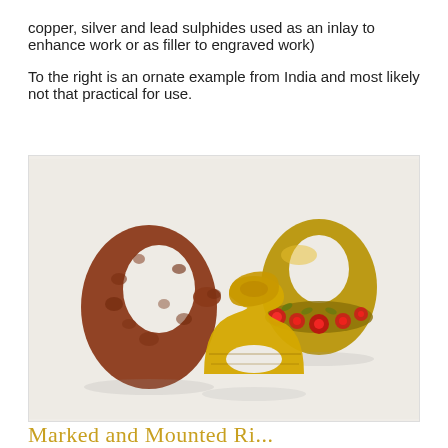copper, silver and lead sulphides used as an inlay to enhance work or as filler to engraved work)
To the right is an ornate example from India and most likely not that practical for use.
[Figure (photo): Photo showing three archer's thumb rings: a rough reddish-brown antler or bone ring (left), an ornate gold and enamel Indian ring with red floral inlay (right), and a gold signet-style ring with decorative engravings (center bottom).]
Marked and Mounted Ri...